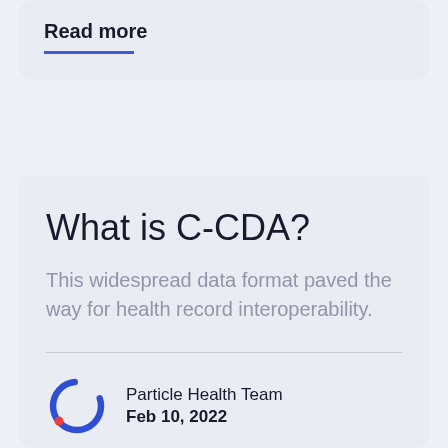Read more
What is C-CDA?
This widespread data format paved the way for health record interoperability.
Particle Health Team
Feb 10, 2022